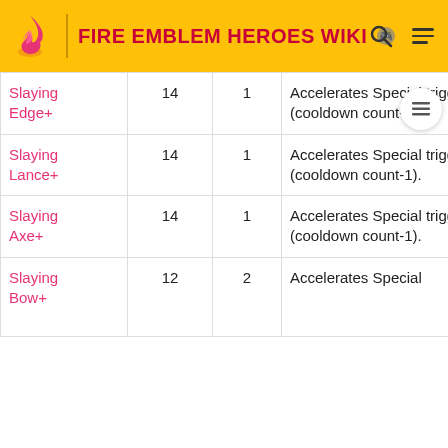FIRE EMBLEM HEROES WIKI
| Name | Might | Range | Description |
| --- | --- | --- | --- |
| Slaying Edge+ | 14 | 1 | Accelerates Special trigger (cooldown count-1). |
| Slaying Lance+ | 14 | 1 | Accelerates Special trigger (cooldown count-1). |
| Slaying Axe+ | 14 | 1 | Accelerates Special trigger (cooldown count-1). |
| Slaying Bow+ | 12 | 2 | Accelerates Special... |